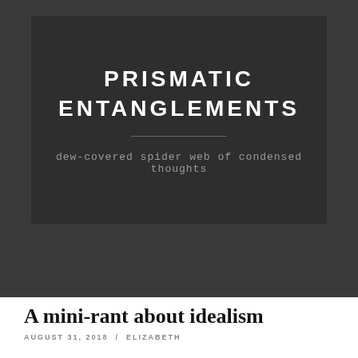PRISMATIC ENTANGLEMENTS
dew-covered spider web of condensed thoughts
A mini-rant about idealism
AUGUST 31, 2018 / ELIZABETH